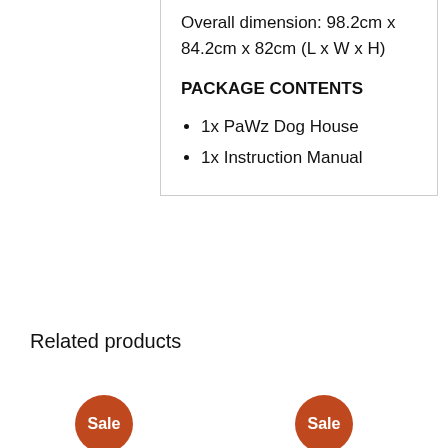Overall dimension: 98.2cm x 84.2cm x 82cm (L x W x H)
PACKAGE CONTENTS
1x PaWz Dog House
1x Instruction Manual
Related products
[Figure (other): Sale badge (circular orange badge with white text 'Sale')]
[Figure (other): Sale badge (circular orange badge with white text 'Sale')]